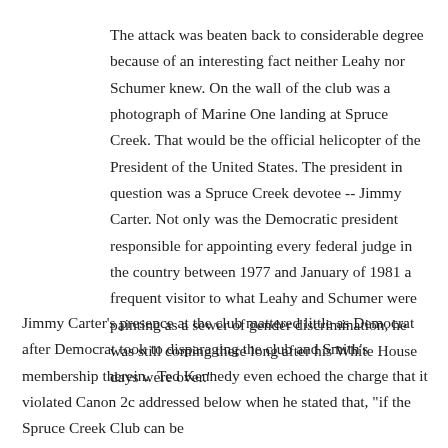The attack was beaten back to considerable degree because of an interesting fact neither Leahy nor Schumer knew. On the wall of the club was a photograph of Marine One landing at Spruce Creek. That would be the official helicopter of the President of the United States. The president in question was a Spruce Creek devotee -- Jimmy Carter. Not only was the Democratic president responsible for appointing every federal judge in the country between 1977 and January of 1981 a frequent visitor to what Leahy and Schumer were painting as a sewer of gender discrimination, he was still coming there long after his White House days were over."
Jimmy Carter's presence at the club mattered little as Democrat after Democrat took to disparaging the club and Smith's membership therein. Ted Kennedy even echoed the charge that it violated Canon 2c addressed below when he stated that, "if the Spruce Creek Club can be